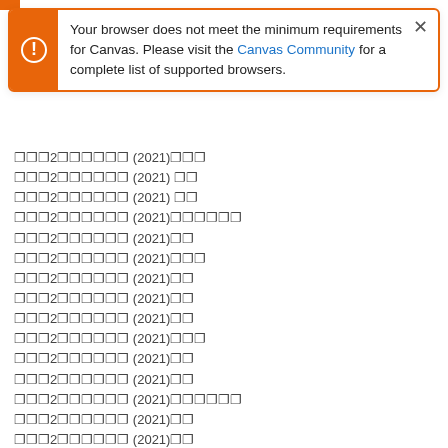[Figure (screenshot): Browser compatibility alert dialog from Canvas LMS. Orange left panel with exclamation icon. Text: 'Your browser does not meet the minimum requirements for Canvas. Please visit the Canvas Community for a complete list of supported browsers.' With a close X button.]
␦␦␦2␦␦␦␦␦␦ (2021)␦␦␦
␦␦␦2␦␦␦␦␦␦ (2021) ␦␦
␦␦␦2␦␦␦␦␦␦ (2021) ␦␦
␦␦␦2␦␦␦␦␦␦ (2021)␦␦␦␦␦␦
␦␦␦2␦␦␦␦␦␦ (2021)␦␦
␦␦␦2␦␦␦␦␦␦ (2021)␦␦␦
␦␦␦2␦␦␦␦␦␦ (2021)␦␦
␦␦␦2␦␦␦␦␦␦ (2021)␦␦
␦␦␦2␦␦␦␦␦␦ (2021)␦␦
␦␦␦2␦␦␦␦␦␦ (2021)␦␦␦
␦␦␦2␦␦␦␦␦␦ (2021)␦␦
␦␦␦2␦␦␦␦␦␦ (2021)␦␦
␦␦␦2␦␦␦␦␦␦ (2021)␦␦␦␦␦␦
␦␦␦2␦␦␦␦␦␦ (2021)␦␦
␦␦␦2␦␦␦␦␦␦ (2021)␦␦